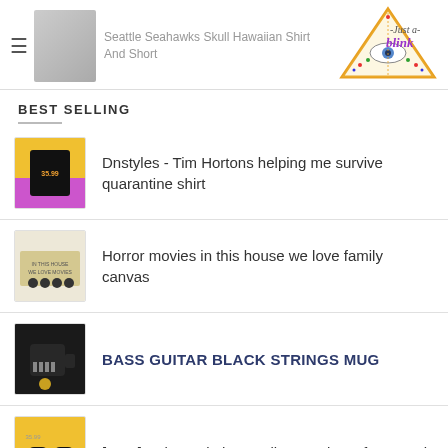Seattle Seahawks Skull Hawaiian Shirt And Short
[Figure (logo): Just a blink logo with illuminati triangle eye and handwritten text]
BEST SELLING
[Figure (photo): Dnstyles - Tim Hortons helping me survive quarantine shirt product thumbnail]
Dnstyles - Tim Hortons helping me survive quarantine shirt
[Figure (photo): Horror movies in this house we love family canvas product thumbnail]
Horror movies in this house we love family canvas
[Figure (photo): BASS GUITAR BLACK STRINGS MUG product thumbnail]
BASS GUITAR BLACK STRINGS MUG
[Figure (photo): [HOT] Baby Yoda hug Dallas Cowboys face mask product thumbnail]
[HOT] Baby Yoda hug Dallas Cowboys face mask